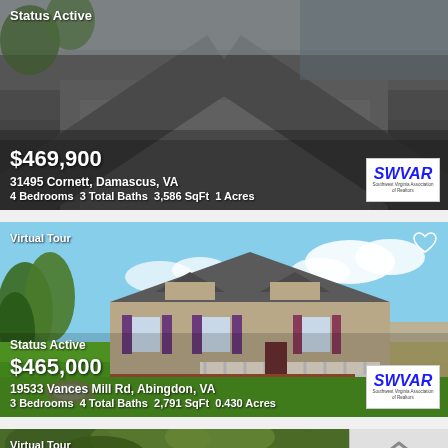[Figure (photo): Aerial/driveway view of property at 31495 Cornett, Damascus, VA. Dark asphalt driveway visible.]
Status Active
$469,900
31495 Cornett, Damascus, VA
4 Bedrooms  3 Total Baths  3,586 SqFt  1 Acres
[Figure (photo): House with tan/beige siding, purple shutters, front porch with white railing and stairs, set on a green lawn under blue sky with clouds. Virtual Tour badge top-left. Heart icon top-right.]
Virtual Tour
Status Active
$465,000
19533 Vances Mill Rd, Abingdon, VA
3 Bedrooms  4 Total Baths  2,791 SqFt  0.430 Acres
[Figure (photo): View through tree canopy, green foliage. Virtual Tour badge top-left. Scroll-up button at bottom-right.]
Virtual Tour